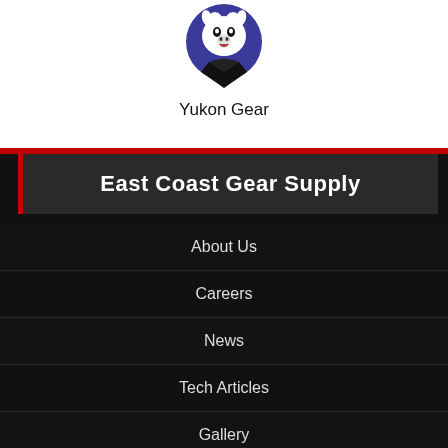[Figure (logo): Yukon Gear brand logo: circular blue/purple badge with a white bull/wolf animal image, black and white illustration, with a dark chevron/heart shape at bottom]
Yukon Gear
East Coast Gear Supply
About Us
Careers
News
Tech Articles
Gallery